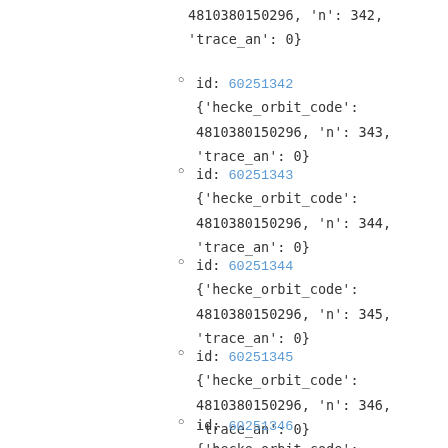4810380150296, 'n': 342, 'trace_an': 0}
id: 60251342
{'hecke_orbit_code': 4810380150296, 'n': 343, 'trace_an': 0}
id: 60251343
{'hecke_orbit_code': 4810380150296, 'n': 344, 'trace_an': 0}
id: 60251344
{'hecke_orbit_code': 4810380150296, 'n': 345, 'trace_an': 0}
id: 60251345
{'hecke_orbit_code': 4810380150296, 'n': 346, 'trace_an': 0}
id: 60251346
{'hecke_orbit_code':